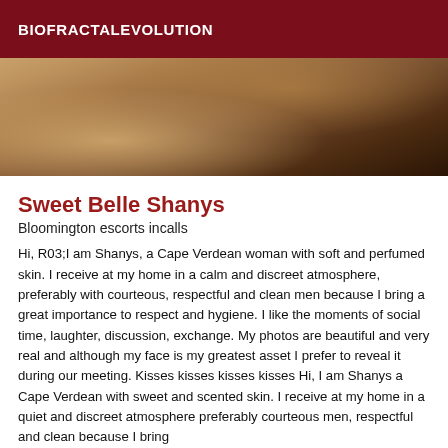BIOFRACTALEVOLUTION
[Figure (photo): Close-up photo showing warm-toned skin and fabric, brownish-orange tones]
Sweet Belle Shanys
Bloomington escorts incalls
Hi, R03;I am Shanys, a Cape Verdean woman with soft and perfumed skin. I receive at my home in a calm and discreet atmosphere, preferably with courteous, respectful and clean men because I bring a great importance to respect and hygiene. I like the moments of social time, laughter, discussion, exchange. My photos are beautiful and very real and although my face is my greatest asset I prefer to reveal it during our meeting. Kisses kisses kisses kisses Hi, I am Shanys a Cape Verdean with sweet and scented skin. I receive at my home in a quiet and discreet atmosphere preferably courteous men, respectful and clean because I bring